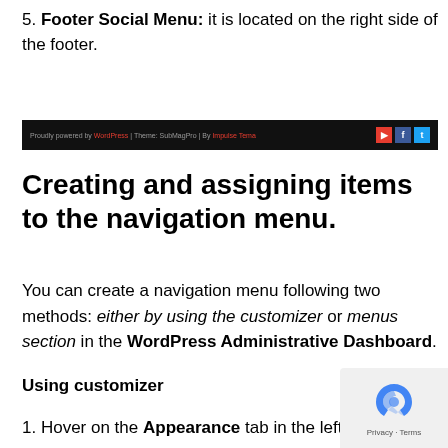5. Footer Social Menu: it is located on the right side of the footer.
[Figure (screenshot): Dark footer bar showing 'Proudly powered by WordPress | Theme: SubMagPro | By Impulse Tema' with YouTube, Facebook, and Twitter icons on the right.]
Creating and assigning items to the navigation menu.
You can create a navigation menu following two methods: either by using the customizer or menus section in the WordPress Administrative Dashboard.
Using customizer
1. Hover on the Appearance tab in the left sidebar